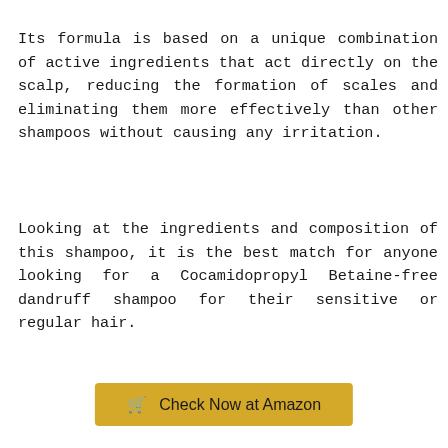Its formula is based on a unique combination of active ingredients that act directly on the scalp, reducing the formation of scales and eliminating them more effectively than other shampoos without causing any irritation.
Looking at the ingredients and composition of this shampoo, it is the best match for anyone looking for a Cocamidopropyl Betaine-free dandruff shampoo for their sensitive or regular hair.
[Figure (other): Golden/yellow button labeled 'Check Now at Amazon' with a shopping cart icon]